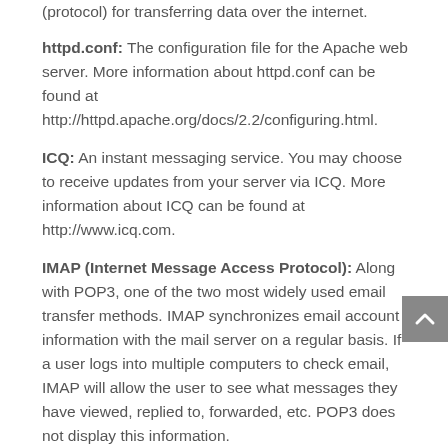(protocol) for transferring data over the internet.
httpd.conf: The configuration file for the Apache web server. More information about httpd.conf can be found at http://httpd.apache.org/docs/2.2/configuring.html.
ICQ: An instant messaging service. You may choose to receive updates from your server via ICQ. More information about ICQ can be found at http://www.icq.com.
IMAP (Internet Message Access Protocol): Along with POP3, one of the two most widely used email transfer methods. IMAP synchronizes email account information with the mail server on a regular basis. If a user logs into multiple computers to check email, IMAP will allow the user to see what messages they have viewed, replied to, forwarded, etc. POP3 does not display this information.
Include (file): A file that is automatically included within another file by the program reading it. In WHM, includes pertain to a series of specifications that can be added to